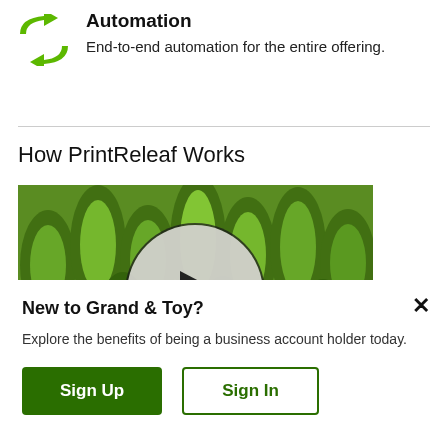[Figure (logo): Green recycling/automation arrows icon]
Automation
End-to-end automation for the entire offering.
How PrintReleaf Works
[Figure (screenshot): Video thumbnail showing aerial view of green forest/trees with a dark circular play button overlay in the center]
New to Grand & Toy?
Explore the benefits of being a business account holder today.
Sign Up
Sign In